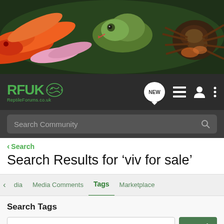[Figure (photo): Banner photo of reptiles: an orange/red corn snake, a green gecko, and a tarantula spider on a dark natural background]
RFUK Reptile Forums.co.uk — navigation bar with NEW, list, user, and menu icons
Search Community
< Search
Search Results for ‘viv for sale’
< dia   Media Comments   Tags   Marketplace
Search Tags
× viv for sale
Search